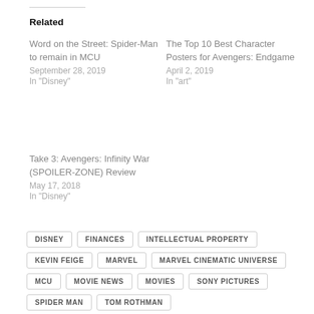Related
Word on the Street: Spider-Man to remain in MCU
September 28, 2019
In "Disney"
The Top 10 Best Character Posters for Avengers: Endgame
April 2, 2019
In "art"
Take 3: Avengers: Infinity War (SPOILER-ZONE) Review
May 17, 2018
In "Disney"
DISNEY
FINANCES
INTELLECTUAL PROPERTY
KEVIN FEIGE
MARVEL
MARVEL CINEMATIC UNIVERSE
MCU
MOVIE NEWS
MOVIES
SONY PICTURES
SPIDER MAN
TOM ROTHMAN